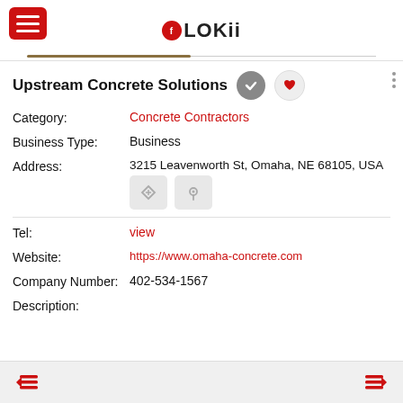FLOKii
Upstream Concrete Solutions
Category: Concrete Contractors
Business Type: Business
Address: 3215 Leavenworth St, Omaha, NE 68105, USA
Tel: view
Website: https://www.omaha-concrete.com
Company Number: 402-534-1567
Description: